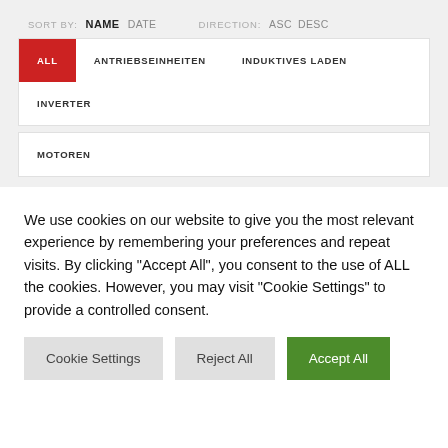SORT BY: NAME DATE   DIRECTION: ASC DESC
ALL
ANTRIEBSEINHEITEN
INDUKTIVES LADEN
INVERTER
MOTOREN
We use cookies on our website to give you the most relevant experience by remembering your preferences and repeat visits. By clicking “Accept All”, you consent to the use of ALL the cookies. However, you may visit "Cookie Settings" to provide a controlled consent.
Cookie Settings   Reject All   Accept All